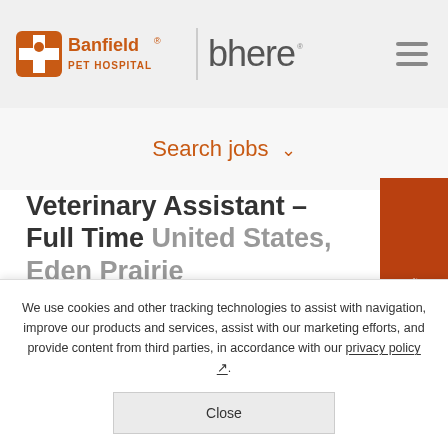[Figure (logo): Banfield Pet Hospital logo with orange cross and pet icon, followed by a vertical divider and 'bhere' text in gray]
Search jobs ˅
Veterinary Assistant - Full Time United States, Eden Prairie
Apply Now >
Candidate FEEDBACK [...]
We use cookies and other tracking technologies to assist with navigation, improve our products and services, assist with our marketing efforts, and provide content from third parties, in accordance with our privacy policy.
Close